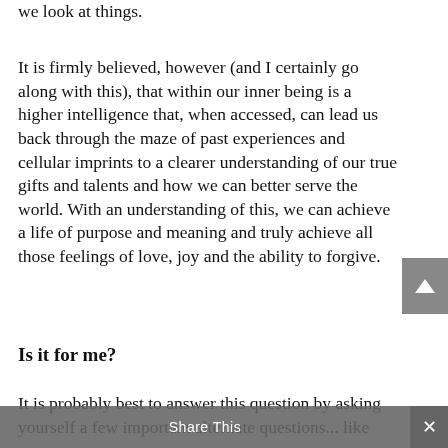we look at things.
It is firmly believed, however (and I certainly go along with this), that within our inner being is a higher intelligence that, when accessed, can lead us back through the maze of past experiences and cellular imprints to a clearer understanding of our true gifts and talents and how we can better serve the world. With an understanding of this, we can achieve a life of purpose and meaning and truly achieve all those feelings of love, joy and the ability to forgive.
Is it for me?
It is probably best to answer this question by asking yourself a few important alternate questions... like